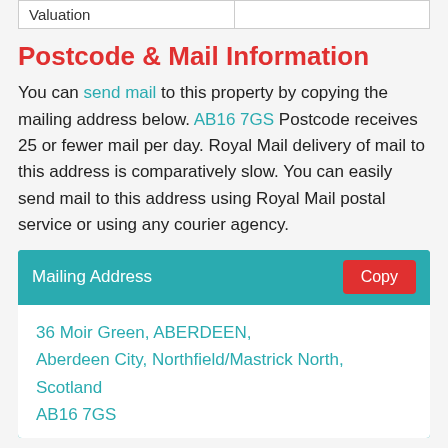| Valuation |  |
| --- | --- |
Postcode & Mail Information
You can send mail to this property by copying the mailing address below. AB16 7GS Postcode receives 25 or fewer mail per day. Royal Mail delivery of mail to this address is comparatively slow. You can easily send mail to this address using Royal Mail postal service or using any courier agency.
Mailing Address
36 Moir Green, ABERDEEN,
Aberdeen City, Northfield/Mastrick North, Scotland
AB16 7GS